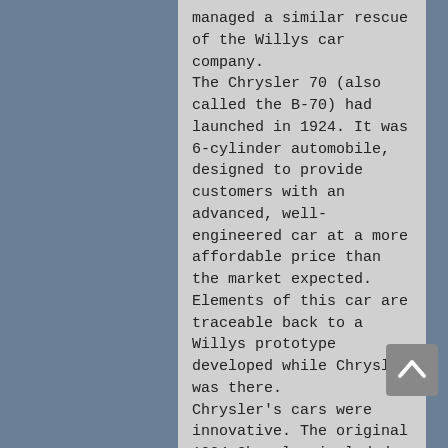managed a similar rescue of the Willys car company. The Chrysler 70 (also called the B-70) had launched in 1924. It was 6-cylinder automobile, designed to provide customers with an advanced, well-engineered car at a more affordable price than the market expected. Elements of this car are traceable back to a Willys prototype developed while Chrysler was there. Chrysler's cars were innovative. The original 1924 Chrysler included a carburetor air filter, high-compression engine, full pressure lubrication inside the engine, and an oil filter, at a time when most autos came without all these features. Among the innovations in its early years would be the first practical mass-produced four-wheel hydraulic brakes, a system nearly completely engineered by Chrysler with patents